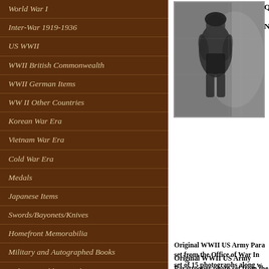World War I
Inter-War 1919-1936
US WWII
WWII British Commonwealth
WWII German Items
WW II Other Countries
Korean War Era
Vietnam War Era
Cold War Era
Medals
Japanese Items
Swords/Bayonets/Knives
Homefront Memorabilia
Military and Autographed Books
Military Field Manuals
Refrence Books
Posters, Prints and Photographs
[Figure (photo): Black and white photograph of a WWII US Army paratrooper in full gear standing next to an aircraft]
Qua
New
Original WWII US Army Paratrooper photo set from the Office of War Information, a set of 15 photographs along with a sheet and labeling each of the photographs. The Office of War Information stamp appears to the included paper sheet, which reads: The paper sheet is a three page story of the parachute and paratroopers, how they are made and including the document is for Advance Release for release before Sunday, Fe would have accompanied one